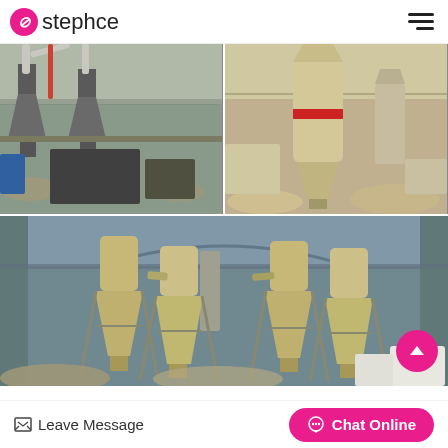stephce
[Figure (photo): Industrial grinding mill machines in a factory setting — two conical hoppers and cylindrical equipment in a large warehouse]
[Figure (photo): Close-up of a large industrial grinding mill with cylindrical tower and red band marking in a dusty workshop]
[Figure (photo): Wide shot inside a large industrial warehouse showing multiple large conical grinding mill hoppers on metal frames]
Modern Coal Grinding Ball Mill For Spectacular Efficiency
Leave Message
Chat Online